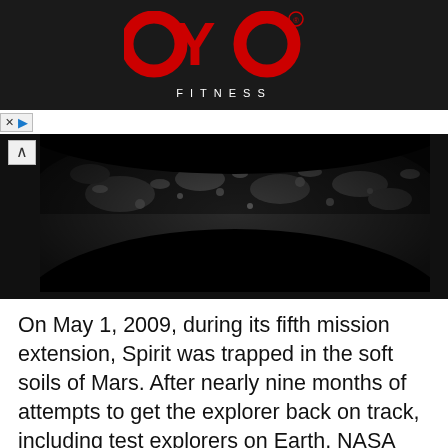[Figure (logo): OYO Fitness logo in red and white on black background with 'FITNESS' text below]
[Figure (photo): Black and white photograph of Mars surface taken by Spirit rover, showing rocky terrain with a fisheye/wide-angle perspective]
On May 1, 2009, during its fifth mission extension, Spirit was trapped in the soft soils of Mars. After nearly nine months of attempts to get the explorer back on track, including test explorers on Earth, NASA announced on January 26, 2010 that Spirit was being reassigned as a stationary science platform.